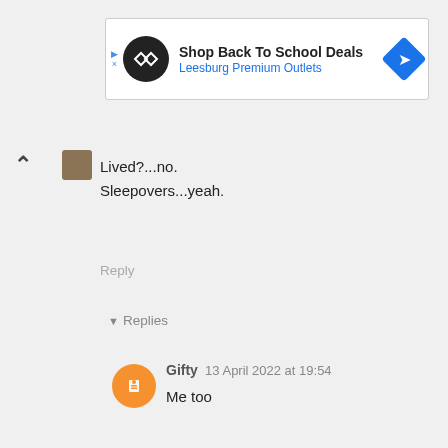[Figure (screenshot): Advertisement banner: Shop Back To School Deals – Leesburg Premium Outlets]
Lived?...no.
Sleepovers...yeah.
Reply
▾ Replies
Gifty  13 April 2022 at 19:54
Me too